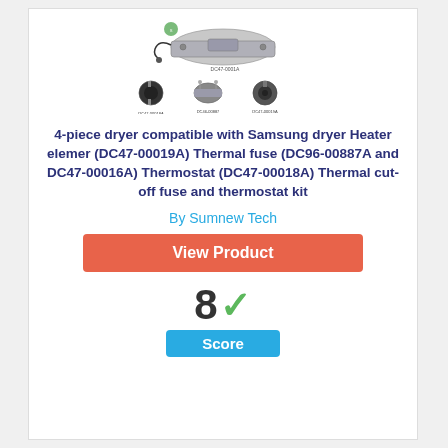[Figure (photo): Product photo of Samsung dryer heater element kit with multiple components including the main heater assembly and three smaller thermostat/fuse components]
4-piece dryer compatible with Samsung dryer Heater element (DC47-00019A) Thermal fuse (DC96-00887A and DC47-00016A) Thermostat (DC47-00018A) Thermal cut-off fuse and thermostat kit
By Sumnew Tech
View Product
8 Score